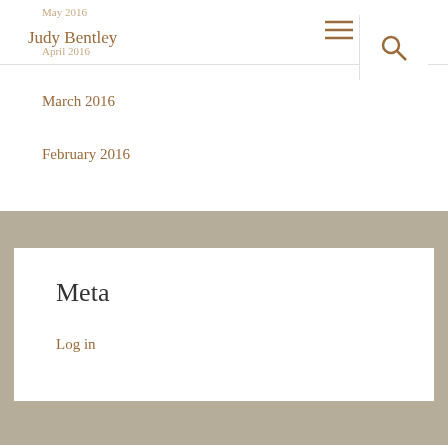Judy Bentley
May 2016
April 2016
March 2016
February 2016
Meta
Log in
Proudly powered by WordPress | Theme: Radiate by ThemeGrill.